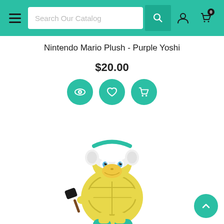Search Our Catalog — navigation bar with hamburger menu, search box, search icon, user icon, cart icon
Nintendo Mario Plush - Purple Yoshi
$20.00
[Figure (screenshot): Three teal circular action buttons: eye/view icon, heart/wishlist icon, shopping cart icon]
[Figure (photo): Yellow-green turtle Koopa Troopa plush toy holding a small black hammer, wearing a white helmet, with teal feet and shell markings]